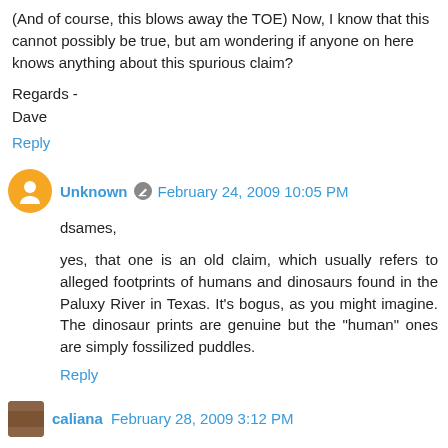(And of course, this blows away the TOE) Now, I know that this cannot possibly be true, but am wondering if anyone on here knows anything about this spurious claim?
Regards -
Dave
Reply
Unknown  February 24, 2009 10:05 PM
dsames,
yes, that one is an old claim, which usually refers to alleged footprints of humans and dinosaurs found in the Paluxy River in Texas. It's bogus, as you might imagine. The dinosaur prints are genuine but the "human" ones are simply fossilized puddles.
Reply
caliana  February 28, 2009 3:12 PM